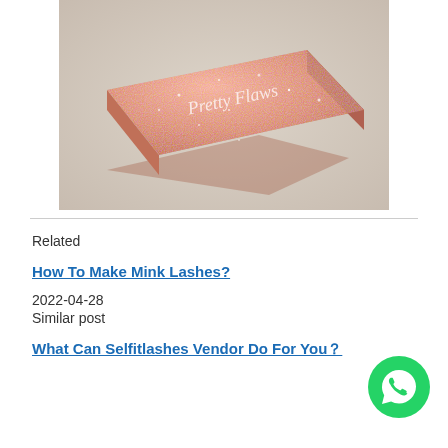[Figure (photo): A rectangular rose gold glitter box with 'Pretty Flaws' written in cursive script on the top, photographed on a light gray background.]
Related
How To Make Mink Lashes?
2022-04-28
Similar post
What Can Selfitlashes Vendor Do For You？